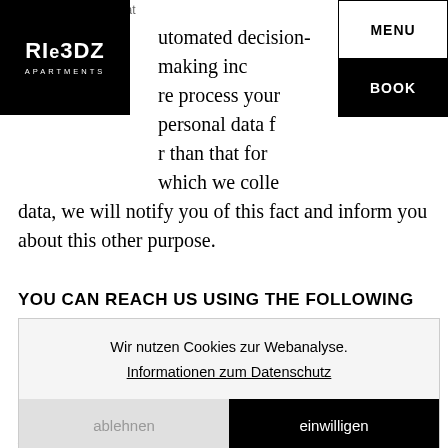E-Mail: dsb@dsbighat
[Figure (logo): RIEDZ APARTMENTS logo — white text on black square background]
automated decision-making inc... re process your personal data f... r than that for which we colle... data, we will notify you of this fact and inform you about this other purpose.
YOU CAN REACH US USING THE FOLLOWING
Wir nutzen Cookies zur Webanalyse. Informationen zum Datenschutz
ablehnen
einwilligen
Riedgasse 5